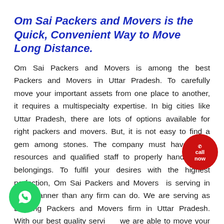Om Sai Packers and Movers is the Quick, Convenient Way to Move Long Distance.
Om Sai Packers and Movers is among the best Packers and Movers in Uttar Pradesh. To carefully move your important assets from one place to another, it requires a multispecialty expertise. In big cities like Uttar Pradesh, there are lots of options available for right packers and movers. But, it is not easy to find a gem among stones. The company must have good resources and qualified staff to properly handle your belongings. To fulfil your desires with the highest perfection, Om Sai Packers and Movers  is serving in best manner than any firm can do. We are serving as Leading Packers and Movers firm in Uttar Pradesh. With our best quality servi we are able to move your assets to any part of the Indi operating for foreign movementadditionally. With these services, we are enabling you to get the services that
[Figure (illustration): WhatsApp contact button — green circle with white WhatsApp icon, bottom left corner]
[Figure (illustration): Call Now badge — red circular sticker with white text 'call now' and phone icon, bottom right area]